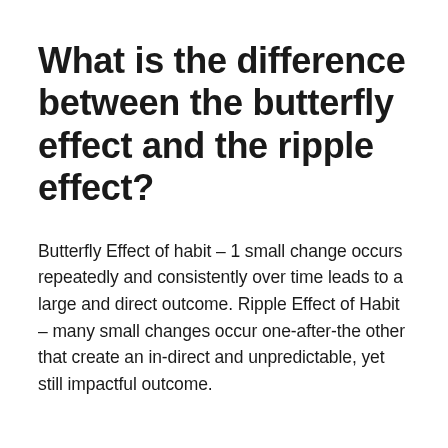What is the difference between the butterfly effect and the ripple effect?
Butterfly Effect of habit – 1 small change occurs repeatedly and consistently over time leads to a large and direct outcome. Ripple Effect of Habit – many small changes occur one-after-the other that create an in-direct and unpredictable, yet still impactful outcome.